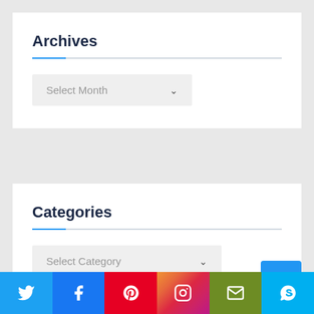Archives
[Figure (screenshot): Dropdown select box labeled 'Select Month' with chevron]
Categories
[Figure (screenshot): Dropdown select box labeled 'Select Category' with chevron]
[Figure (infographic): Social media icon bar with Twitter, Facebook, Pinterest, Instagram, Email, Skype icons]